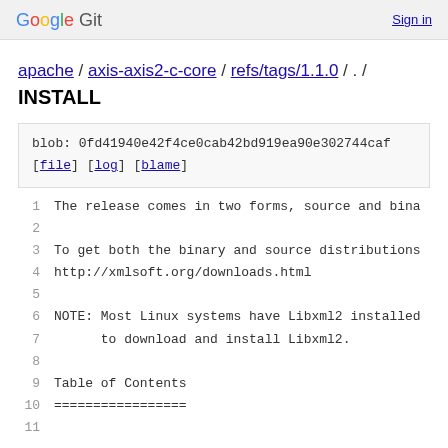Google Git  Sign in
apache / axis-axis2-c-core / refs/tags/1.1.0 / . /
INSTALL
blob: 0fd41940e42f4ce0cab42bd919ea90e302744caf
[file] [log] [blame]
1  The release comes in two forms, source and bina
2
3  To get both the binary and source distributions
4  http://xmlsoft.org/downloads.html
5
6  NOTE: Most Linux systems have Libxml2 installed
7       to download and install Libxml2.
8
9  Table of Contents
10 ================
11